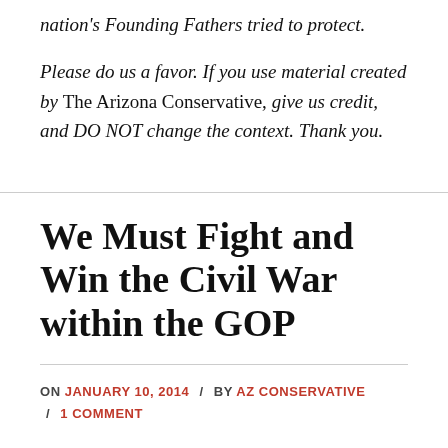nation's Founding Fathers tried to protect.
Please do us a favor. If you use material created by The Arizona Conservative, give us credit, and DO NOT change the context. Thank you.
We Must Fight and Win the Civil War within the GOP
ON JANUARY 10, 2014 / BY AZ CONSERVATIVE / 1 COMMENT